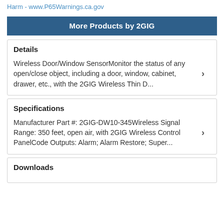Harm - www.P65Warnings.ca.gov
More Products by 2GIG
Details
Wireless Door/Window SensorMonitor the status of any open/close object, including a door, window, cabinet, drawer, etc., with the 2GIG Wireless Thin D...
Specifications
Manufacturer Part #: 2GIG-DW10-345Wireless Signal Range: 350 feet, open air, with 2GIG Wireless Control PanelCode Outputs: Alarm; Alarm Restore; Super...
Downloads